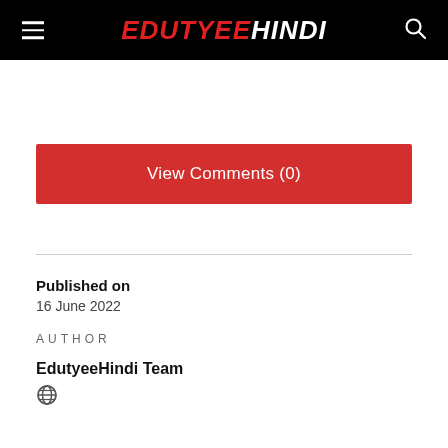EDUTYEEHINDI
View Comments (0)
Published on
16 June 2022
AUTHOR
EdutyeeHindi Team